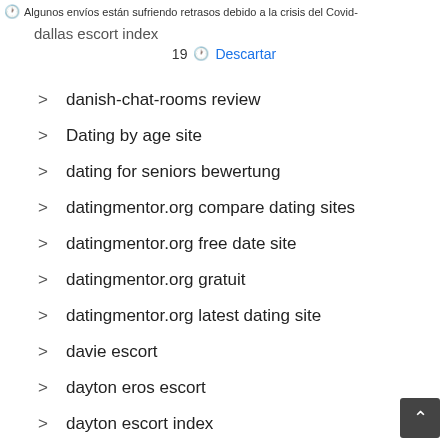Algunos envíos están sufriendo retrasos debido a la crisis del Covid-19  Descartar
dallas escort index
danish-chat-rooms review
Dating by age site
dating for seniors bewertung
datingmentor.org compare dating sites
datingmentor.org free date site
datingmentor.org gratuit
datingmentor.org latest dating site
davie escort
dayton eros escort
dayton escort index
denton escort
direct payday loans
Divorced Dating sites